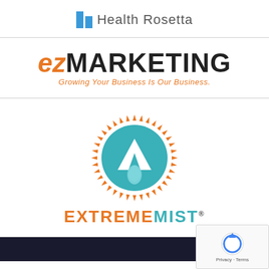[Figure (logo): Health Rosetta logo with blue bar chart icon and gray text]
[Figure (logo): EZ Marketing logo: orange italic 'ez' with bold black 'MARKETING' and orange tagline 'Growing Your Business Is Our Business.']
[Figure (logo): ExtremeMist logo: teal circular emblem with orange sunburst border, chevron and water drop, orange 'EXTREME' and teal 'MIST' text with registered trademark]
[Figure (logo): Partial dark logo visible at bottom of page]